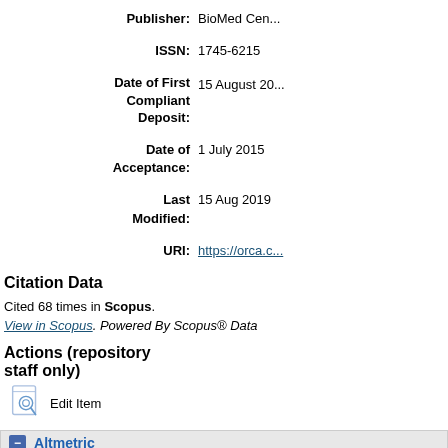| Field | Value |
| --- | --- |
| Publisher: | BioMed Cen... |
| ISSN: | 1745-6215 |
| Date of First Compliant Deposit: | 15 August 20... |
| Date of Acceptance: | 1 July 2015 |
| Last Modified: | 15 Aug 2019 |
| URI: | https://orca.c... |
Citation Data
Cited 68 times in Scopus. View in Scopus. Powered By Scopus® Data
Actions (repository staff only)
Edit Item
Altmetric
An error has occured